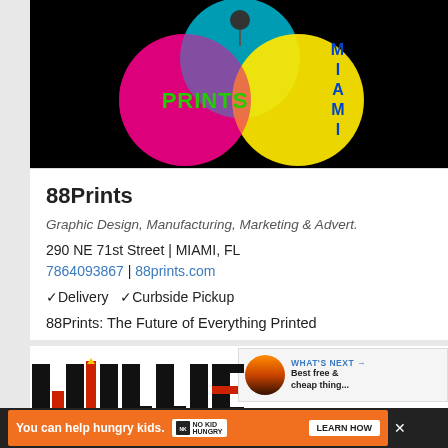[Figure (logo): 88Prints Miami logo: overlapping CMYK circles (magenta, cyan, yellow) on black background with 'PRINTS' in green and 'MIAMI' in blue text]
88Prints
Graphic Design, Manufacturing, Marketing & Advert.
290 NE 71st Street  |  MIAMI, FL
7864093867 | 88prints.com
✓Delivery   ✓Curbside Pickup
88Prints: The Future of Everything Printed
[Figure (screenshot): WHAT'S NEXT callout with sunset image and text 'Best free & cheap thing...']
[Figure (logo): Willie E logo with large black block letters and red candle/torch graphic]
You can help hungry kids.  NO KID HUNGRY  LEARN HOW